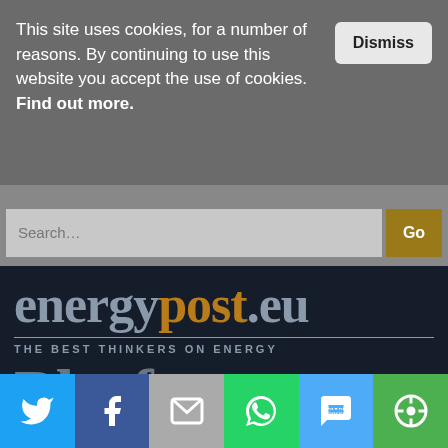This site uses cookies, for a number of reasons. By continuing to use this website you accept the use of cookies. Find out more.
Dismiss
Search...
Go
[Figure (logo): energypost.eu logo with tagline THE BEST THINKERS ON ENERGY and large text Platform below]
[Figure (infographic): Social sharing bar with Twitter, Facebook, Email, WhatsApp, SMS, and More icons]